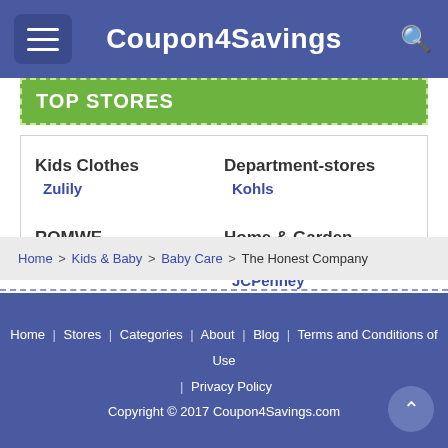Coupon4Savings
TOP STORES
Kids Clothes
Zulily
Department-stores
Kohls
ROMWE
Edible Arrangements
Home & Garden
Bed Bath and Beyond
JCPenney
View more...
Home > Kids & Baby > Baby Care > The Honest Company
Home | Stores | Categories | About | Blog | Terms and Conditions of Use | Privacy Policy
Copyright © 2017 Coupon4Savings.com